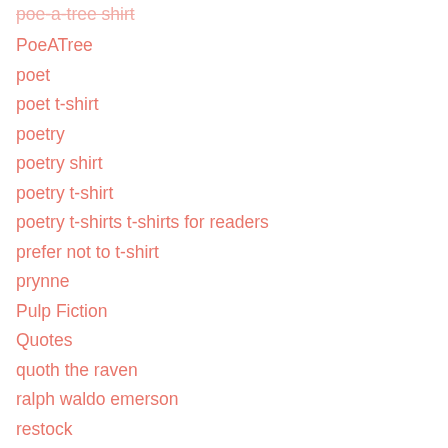poe-a-tree shirt
PoeATree
poet
poet t-shirt
poetry
poetry shirt
poetry t-shirt
poetry t-shirts t-shirts for readers
prefer not to t-shirt
prynne
Pulp Fiction
Quotes
quoth the raven
ralph waldo emerson
restock